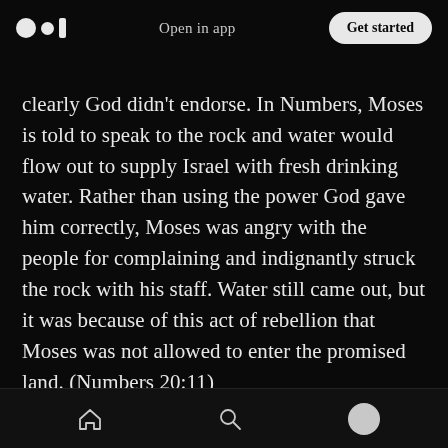Open in app | Get started
clearly God didn't endorse. In Numbers, Moses is told to speak to the rock and water would flow out to supply Israel with fresh drinking water. Rather than using the power God gave him correctly, Moses was angry with the people for complaining and indignantly struck the rock with his staff. Water still came out, but it was because of this act of rebellion that Moses was not allowed to enter the promised land. (Numbers 20:11)

When Jesus was mistreated by the Samaritans in
Home | Search | Profile